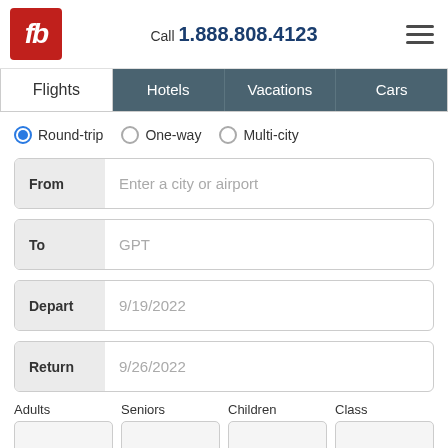[Figure (logo): fb logo: red square with white italic 'fb' text]
Call 1.888.808.4123
[Figure (other): Hamburger menu icon (three horizontal lines)]
Flights | Hotels | Vacations | Cars (navigation tabs)
Round-trip (selected), One-way, Multi-city
From: Enter a city or airport
To: GPT
Depart: 9/19/2022
Return: 9/26/2022
Adults, Seniors, Children, Class